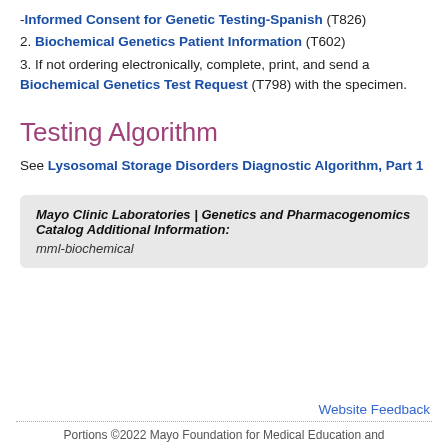-Informed Consent for Genetic Testing-Spanish (T826)
2. Biochemical Genetics Patient Information (T602)
3. If not ordering electronically, complete, print, and send a Biochemical Genetics Test Request (T798) with the specimen.
Testing Algorithm
See Lysosomal Storage Disorders Diagnostic Algorithm, Part 1
Mayo Clinic Laboratories | Genetics and Pharmacogenomics Catalog Additional Information:
mml-biochemical
Website Feedback
Portions ©2022 Mayo Foundation for Medical Education and